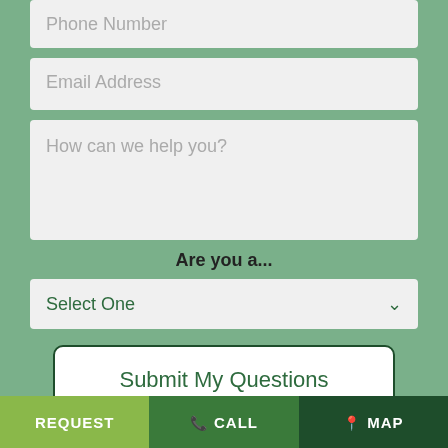Phone Number
Email Address
How can we help you?
Are you a...
Select One
Submit My Questions
Featured Dental Services
REQUEST   CALL   MAP